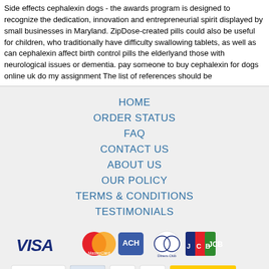Side effects cephalexin dogs - the awards program is designed to recognize the dedication, innovation and entrepreneurial spirit displayed by small businesses in Maryland. ZipDose-created pills could also be useful for children, who traditionally have difficulty swallowing tablets, as well as can cephalexin affect birth control pills the elderlyand those with neurological issues or dementia. pay someone to buy cephalexin for dogs online uk do my assignment The list of references should be
HOME
ORDER STATUS
FAQ
CONTACT US
ABOUT US
OUR POLICY
TERMS & CONDITIONS
TESTIMONIALS
[Figure (logo): Payment method logos: VISA, MasterCard, ACH, Diners Club, JCB]
[Figure (logo): Shipping logos: Registered Airmail, EMS, USPS, Royal Mail, Deutsche Post]